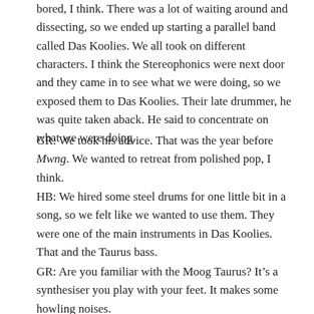bored, I think. There was a lot of waiting around and dissecting, so we ended up starting a parallel band called Das Koolies. We all took on different characters. I think the Stereophonics were next door and they came in to see what we were doing, so we exposed them to Das Koolies. Their late drummer, he was quite taken aback. He said to concentrate on what we were doing.
GR: We took his advice. That was the year before Mwng. We wanted to retreat from polished pop, I think.
HB: We hired some steel drums for one little bit in a song, so we felt like we wanted to use them. They were one of the main instruments in Das Koolies. That and the Taurus bass.
GR: Are you familiar with the Moog Taurus? It’s a synthesiser you play with your feet. It makes some howling noises.